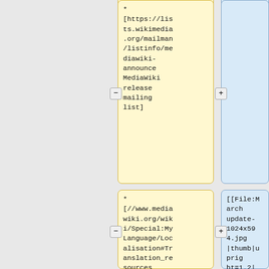* [https://lists.wikimedia.org/mailman/listinfo/mediawiki-announce MediaWiki release mailing list]
* [//www.mediawiki.org/wiki/Special:MyLanguage/Localisation#Translation_resources Localise
[[File:Marchupdate-1024x594.jpg|thumb|upright=1.2|[[Pinebook Pro]] (left) and [[PinePhone]